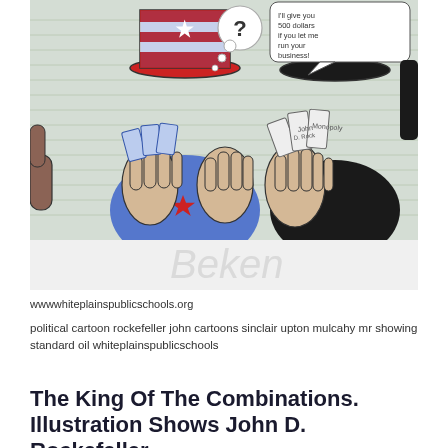[Figure (illustration): A hand-drawn political cartoon showing two figures: on the left, a figure wearing a red, white and blue Uncle Sam top hat holding playing cards/tickets with a thought bubble showing a question mark; on the right, a figure in a black top hat holding cards labeled with oil derrick imagery and text. The word 'Beken' or similar appears at the bottom of the illustration.]
wwwwhiteplainspublicschools.org
political cartoon rockefeller john cartoons sinclair upton mulcahy mr showing standard oil whiteplainspublicschools
The King Of The Combinations. Illustration Shows John D. Rockefeller